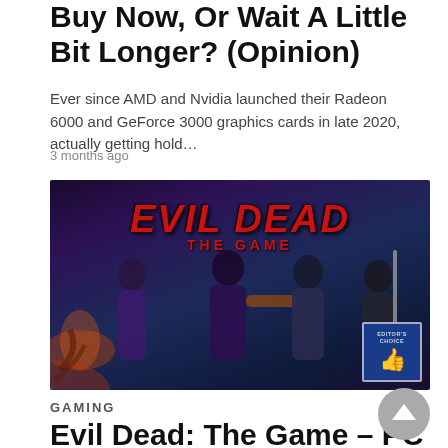Buy Now, Or Wait A Little Bit Longer? (Opinion)
Ever since AMD and Nvidia launched their Radeon 6000 and GeForce 3000 graphics cards in late 2020, actually getting hold…
3 months ago
[Figure (illustration): Evil Dead: The Game promotional artwork showing four characters with weapons in a dark forest background, with game logo in red text and an Editor's Choice badge in the bottom right corner.]
GAMING
Evil Dead: The Game – PC